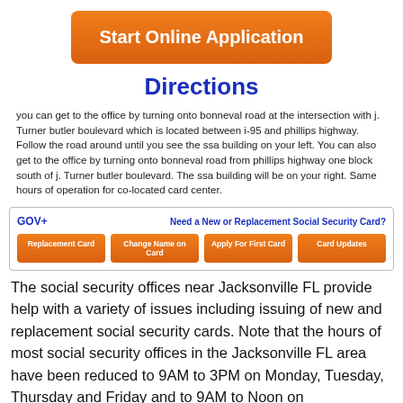[Figure (other): Orange button labeled 'Start Online Application']
Directions
you can get to the office by turning onto bonneval road at the intersection with j. Turner butler boulevard which is located between i-95 and phillips highway. Follow the road around until you see the ssa building on your left. You can also get to the office by turning onto bonneval road from phillips highway one block south of j. Turner butler boulevard. The ssa building will be on your right. Same hours of operation for co-located card center.
[Figure (infographic): GOV+ advertisement box: 'Need a New or Replacement Social Security Card?' with four orange buttons: Replacement Card, Change Name on Card, Apply For First Card, Card Updates]
The social security offices near Jacksonville FL provide help with a variety of issues including issuing of new and replacement social security cards. Note that the hours of most social security offices in the Jacksonville FL area have been reduced to 9AM to 3PM on Monday, Tuesday, Thursday and Friday and to 9AM to Noon on Wednesdays. Also note that all social security offices are closed on all Federal Holidays including New Year's Day, Martin Luther King, Jr.'s Birthday, President's Day, Memorial Day, Independence Day, Labor Day,